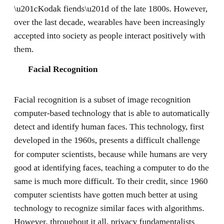“Kodak fiends” of the late 1800s. However, over the last decade, wearables have been increasingly accepted into society as people interact positively with them.
Facial Recognition
Facial recognition is a subset of image recognition computer-based technology that is able to automatically detect and identify human faces. This technology, first developed in the 1960s, presents a difficult challenge for computer scientists, because while humans are very good at identifying faces, teaching a computer to do the same is much more difficult. To their credit, since 1960 computer scientists have gotten much better at using technology to recognize similar faces with algorithms. However, throughout it all, privacy fundamentalists have continued to oppose this technical advancement, regardless of the benefits it brings, such as increased security or modest productivity gains on social networks.